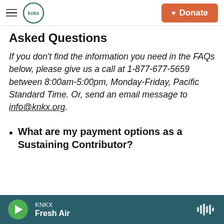KNKX — Donate
Asked Questions
If you don't find the information you need in the FAQs below, please give us a call at 1-877-677-5659 between 8:00am-5:00pm, Monday-Friday, Pacific Standard Time. Or, send an email message to info@knkx.org.
What are my payment options as a Sustaining Contributor?
KNKX — Fresh Air